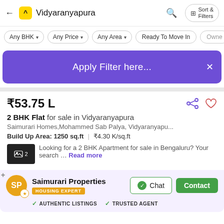Vidyaranyapura
Any BHK  Any Price  Any Area  Ready To Move In  Owner
Apply Filter here...
₹53.75 L
2 BHK Flat for sale in Vidyaranyapura
Saimurari Homes,Mohammed Sab Palya, Vidyaranyapu...
Build Up Area: 1250 sq.ft  ₹4.30 K/sq.ft
Looking for a 2 BHK Apartment for sale in Bengaluru? Your search … Read more
Saimurari Properties
HOUSING EXPERT
✓ AUTHENTIC LISTINGS  ✓ TRUSTED AGENT